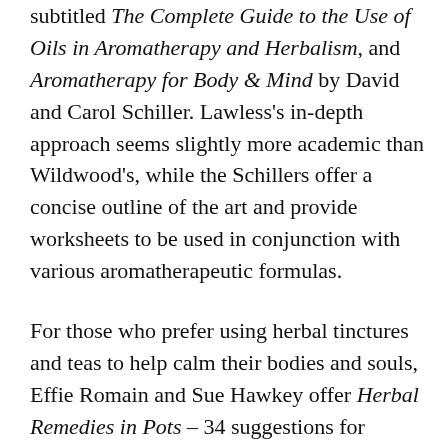subtitled The Complete Guide to the Use of Oils in Aromatherapy and Herbalism, and Aromatherapy for Body & Mind by David and Carol Schiller. Lawless's in-depth approach seems slightly more academic than Wildwood's, while the Schillers offer a concise outline of the art and provide worksheets to be used in conjunction with various aromatherapeutic formulas.
For those who prefer using herbal tinctures and teas to help calm their bodies and souls, Effie Romain and Sue Hawkey offer Herbal Remedies in Pots – 34 suggestions for creating pots of herbs that treat common ailments. This succinct, effectively illustrated book comes with planting and growing instructions, information on the therapeutic use of each herb, and a selection of recipes for the herbs.